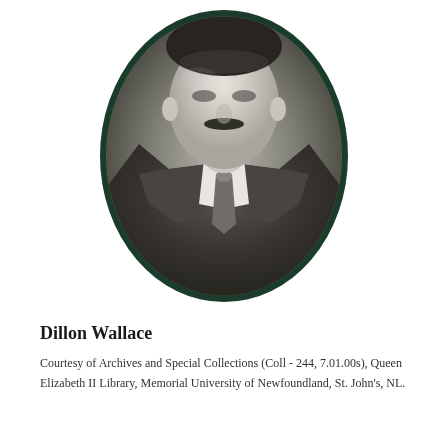[Figure (photo): Oval portrait photograph of Dillon Wallace, a man with a mustache wearing a dark suit with white collar and tie. The photo is framed in a dark green oval border.]
Dillon Wallace
Courtesy of Archives and Special Collections (Coll - 244, 7.01.00s), Queen Elizabeth II Library, Memorial University of Newfoundland, St. John's, NL.